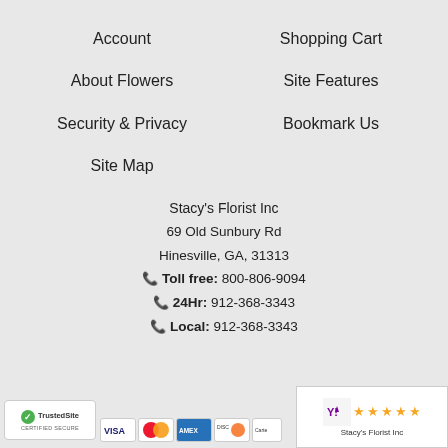Account
Shopping Cart
About Flowers
Site Features
Security & Privacy
Bookmark Us
Site Map
Stacy's Florist Inc
69 Old Sunbury Rd
Hinesville, GA, 31313
Toll free: 800-806-9094
24Hr: 912-368-3343
Local: 912-368-3343
TrustedSite CERTIFIED SECURE | Stacy's Florist Inc (5-star review)